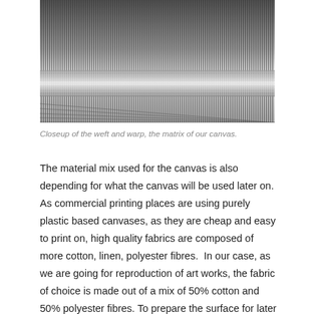[Figure (photo): Black and white closeup photograph of woven canvas fabric showing the weft and warp threads in a tight grid pattern.]
Closeup of the weft and warp, the matrix of our canvas.
The material mix used for the canvas is also depending for what the canvas will be used later on. As commercial printing places are using purely plastic based canvases, as they are cheap and easy to print on, high quality fabrics are composed of more cotton, linen, polyester fibres.  In our case, as we are going for reproduction of art works, the fabric of choice is made out of a mix of 50% cotton and 50% polyester fibres. To prepare the surface for later printing or painting, a primer is applied